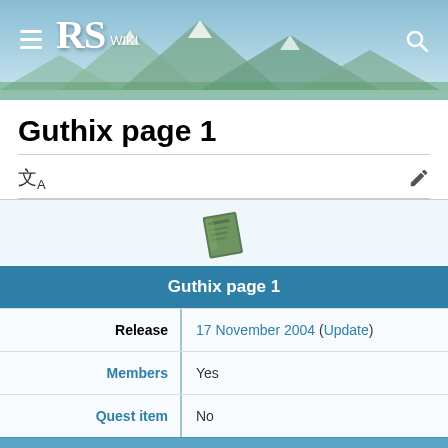RS Wiki
Guthix page 1
[Figure (illustration): Pixel art image of Guthix page 1 item — a green folded page/book sprite]
| Property | Value |
| --- | --- |
| Guthix page 1 |  |
| Release | 17 November 2004 (Update) |
| Members | Yes |
| Quest item | No |
| Properties |  |
| Tradeable | Yes |